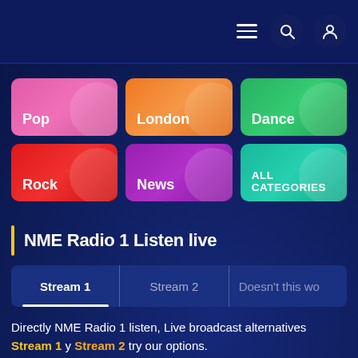Navigation header with hamburger menu, search and user account icons
Pop
London
Dance
Rock
News
ALL CATEGORIES
NME Radio 1 Listen live
Stream 1 | Stream 2 | Doesn't this wo...
Directly NME Radio 1 listen, Live broadcast alternatives Stream 1 y Stream 2 try our options.